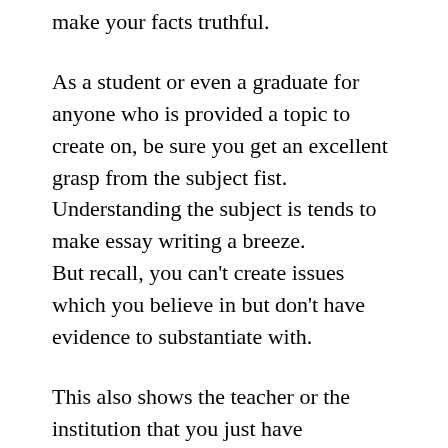make your facts truthful.
As a student or even a graduate for anyone who is provided a topic to create on, be sure you get an excellent grasp from the subject fist. Understanding the subject is tends to make essay writing a breeze. But recall, you can't create issues which you believe in but don't have evidence to substantiate with.
This also shows the teacher or the institution that you just have committed oneself to locating and writing concerning the subject. Just after collecting ample evidence start off creating. Do not believe that you can finish it in 1 GO.